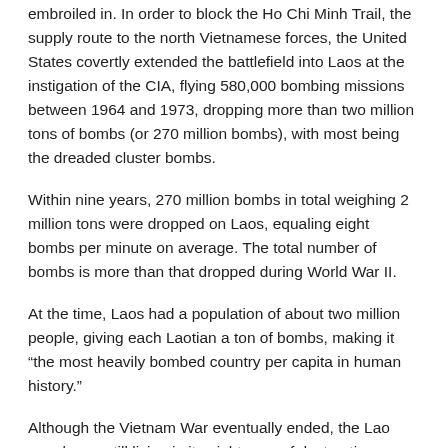embroiled in. In order to block the Ho Chi Minh Trail, the supply route to the north Vietnamese forces, the United States covertly extended the battlefield into Laos at the instigation of the CIA, flying 580,000 bombing missions between 1964 and 1973, dropping more than two million tons of bombs (or 270 million bombs), with most being the dreaded cluster bombs.
Within nine years, 270 million bombs in total weighing 2 million tons were dropped on Laos, equaling eight bombs per minute on average. The total number of bombs is more than that dropped during World War II.
At the time, Laos had a population of about two million people, giving each Laotian a ton of bombs, making it “the most heavily bombed country per capita in human history.”
Although the Vietnam War eventually ended, the Lao people are still living in its nightmare of destruction.